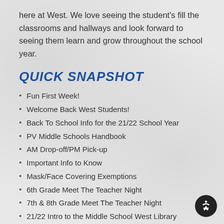here at West. We love seeing the student's fill the classrooms and hallways and look forward to seeing them learn and grow throughout the school year.
QUICK SNAPSHOT
Fun First Week!
Welcome Back West Students!
Back To School Info for the 21/22 School Year
PV Middle Schools Handbook
AM Drop-off/PM Pick-up
Important Info to Know
Mask/Face Covering Exemptions
6th Grade Meet The Teacher Night
7th & 8th Grade Meet The Teacher Night
21/22 Intro to the Middle School West Library
ParentVUE Online Verification
Food Service